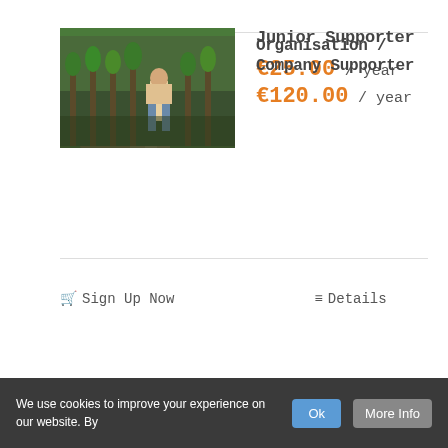[Figure (photo): Person planting or gardening, hands in soil with green plant]
Junior Supporter
€25.00 / year
🛒 Sign Up Now
≡ Details
[Figure (photo): Person working in a tree nursery or orchard, among rows of young trees]
Organisation / Company Supporter
€120.00 / year
We use cookies to improve your experience on our website. By
Ok
More Info